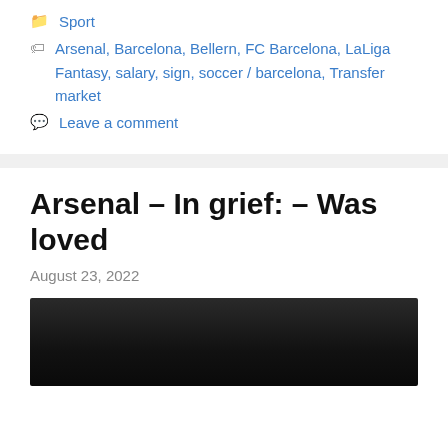Sport
Arsenal, Barcelona, Bellern, FC Barcelona, LaLiga Fantasy, salary, sign, soccer / barcelona, Transfer market
Leave a comment
Arsenal – In grief: – Was loved
August 23, 2022
[Figure (photo): Dark photograph, partially visible at bottom of page]